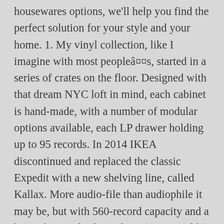housewares options, we'll help you find the perfect solution for your style and your home. 1. My vinyl collection, like I imagine with most peopleâ¤s, started in a series of crates on the floor. Designed with that dream NYC loft in mind, each cabinet is hand-made, with a number of modular options available, each LP drawer holding up to 95 records. In 2014 IKEA discontinued and replaced the classic Expedit with a new shelving line, called Kallax. More audio-file than audiophile it may be, but with 560-record capacity and a huge choice of colours from (questionable) Chocolate Brown to (regal) Plum, the Can-Am is surprisingly versatile. Price: $4,950 – $8,5000 IKEA Hacks, From Expedit To Kallax. 00. If you find flicking